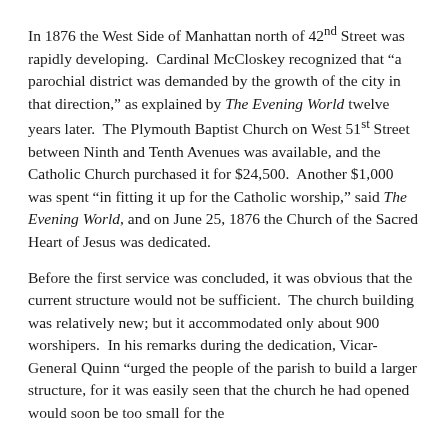In 1876 the West Side of Manhattan north of 42nd Street was rapidly developing. Cardinal McCloskey recognized that “a parochial district was demanded by the growth of the city in that direction,” as explained by The Evening World twelve years later. The Plymouth Baptist Church on West 51st Street between Ninth and Tenth Avenues was available, and the Catholic Church purchased it for $24,500. Another $1,000 was spent “in fitting it up for the Catholic worship,” said The Evening World, and on June 25, 1876 the Church of the Sacred Heart of Jesus was dedicated.
Before the first service was concluded, it was obvious that the current structure would not be sufficient. The church building was relatively new; but it accommodated only about 900 worshipers. In his remarks during the dedication, Vicar-General Quinn “urged the people of the parish to build a larger structure, for it was easily seen that the church he had opened would soon be too small for the